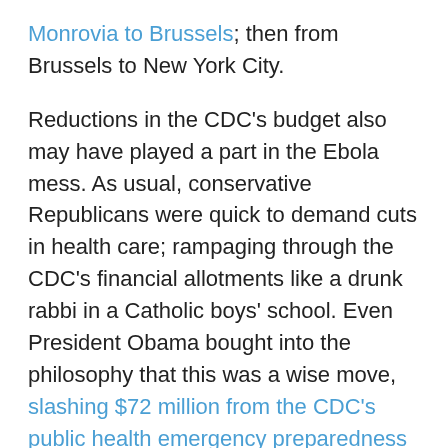Monrovia to Brussels; then from Brussels to New York City.
Reductions in the CDC's budget also may have played a part in the Ebola mess. As usual, conservative Republicans were quick to demand cuts in health care; rampaging through the CDC's financial allotments like a drunk rabbi in a Catholic boys' school. Even President Obama bought into the philosophy that this was a wise move, slashing $72 million from the CDC's public health emergency preparedness program for fiscal year 2012. I've noticed social conservatives are never so eager to cut military spending or funding for more prisons.
I don't know what's next in the Ebola scourge. It shows no signs of abating in West Africa, and there's a good chance more people are going to contract the virus outside of that